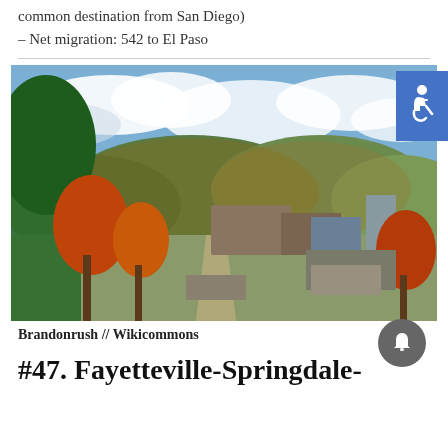common destination from San Diego)
– Net migration: 542 to El Paso
[Figure (photo): Aerial/elevated view of Fayetteville-Springdale city area in autumn, showing tree-lined street, university buildings, hills with fall foliage, and cloudy sky. Attributed to Brandonrush // Wikicommons.]
Brandonrush // Wikicommons
#47. Fayetteville-Springdale-